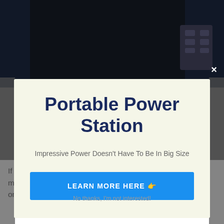[Figure (photo): Dark background showing a power station product, partially visible behind a modal popup overlay]
Portable Power Station
Impressive Power Doesn't Have To Be In Big Size
LEARN MORE HERE 👉
No thanks, I'm not interested!
If you currently have a full mobile power plant, the EB3A might offer you just as well as light-weight compact power on the go while your other